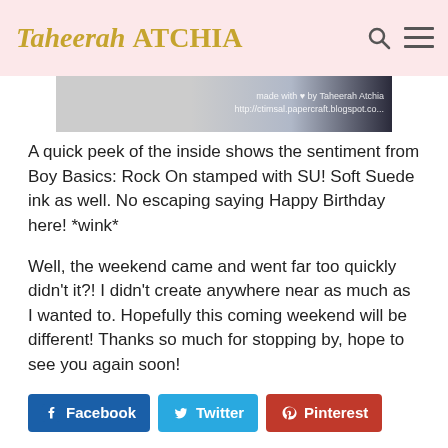Taheerah ATCHIA
[Figure (photo): Partial image strip showing a crafting/papercraft watermark with text 'made with love by Taheerah Atchia' and a URL]
A quick peek of the inside shows the sentiment from Boy Basics: Rock On stamped with SU! Soft Suede ink as well. No escaping saying Happy Birthday here! *wink*
Well, the weekend came and went far too quickly didn't it?! I didn't create anywhere near as much as I wanted to. Hopefully this coming weekend will be different! Thanks so much for stopping by, hope to see you again soon!
Facebook  Twitter  Pinterest
Tagged with: Amuse, Block Party, Boy Basics: Rock On, Grunge Me, Masculine Graphic Tee, MFT, Military Stamp, Papertrey, Papertrey, Ranger, Rock On, ...